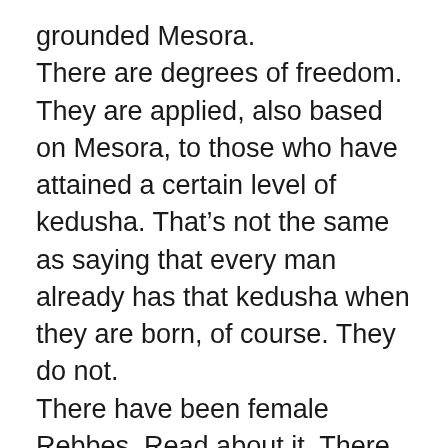grounded Mesora.
There are degrees of freedom. They are applied, also based on Mesora, to those who have attained a certain level of kedusha. That’s not the same as saying that every man already has that kedusha when they are born, of course. They do not.
There have been female Rebbes. Read about it. There have been and are women who put on Tefillin. Maybe some want to wear Tzitzis etc. Those who are at that level, consult a Rav, and